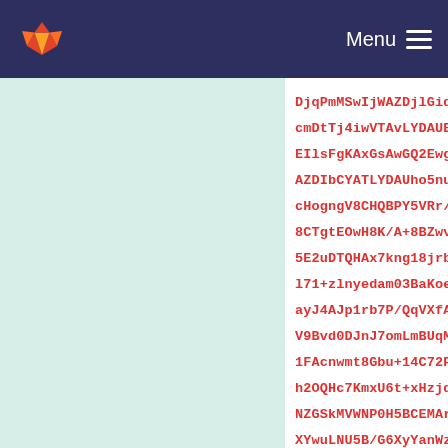GitLab logo | Menu
DjqPmMSwIjWAZDjlGidUng35Klqz4sg8HQ0YcmDtTj4iwVTAvLYDAUBiNYBoOhMBjBMhgMhcEIlsFgKAxGsAwGQ2EwgmUwGAqDESyDwVAYjGAZDIbCYATLYDAUho5nuju1ahm4C7CBc4FPAKcHogngV8CHQBPY5VRr/q1ncoVTq64FbqJ1T58CTgtEOwH8K/A+8BZwv1OtTbOAOLXqbci9oC5E2uDTQHAx7kng18jrbgAPL6QtfNdcAs4k/Fl71+zlnyedam03BaKoeQryZaO2d2vw7Xvd7layJ4AJp1rb7P/QqVXfAi4KxN3rVGvt7bGdYmV9Bvd0DJnJ7omLmBUqMw0D5zNfnJJyEtgHbO1FAcnwmt8Gbu+14C72PAX5tVFqwVI38tfMV9h2OQHc7KmxU6t+xHzjdlWw1D3tYH7LsF2OA0NZGSkMVWNP0H5BCEMAr7b7rOPo0jUD7Aeu7YXYwuLNU5B/G6XyYanWzy6yEyuQBn1MGRiyf1BaVObbRXYZC+Q9vO67p0xR11wn+2dlAQNOrfoblXEzQ7UOXif7awbZIj/i1Kqb4iL2giLmKSiGjRILllOrHmJ+Vy0rLOBu9cB6hrqn0JoyAyxgV6cGCtLla/Y4HVk4Mrl2ZddNtN+1SMJpyIovk2tuly7bpyt5Copjo0SCpVpWK+Pi+TiBbML6/53QfkM+qLZvpE3i7kkw/z6Oc+owvEQ8ll